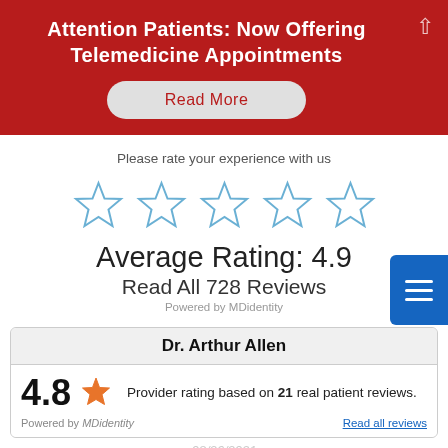Attention Patients: Now Offering Telemedicine Appointments
Read More
Please rate your experience with us
Average Rating: 4.9
Read All 728 Reviews
Powered by MDidentity
Dr. Arthur Allen
4.8 — Provider rating based on 21 real patient reviews.
Powered by MDidentity   Read all reviews
08/26/2021